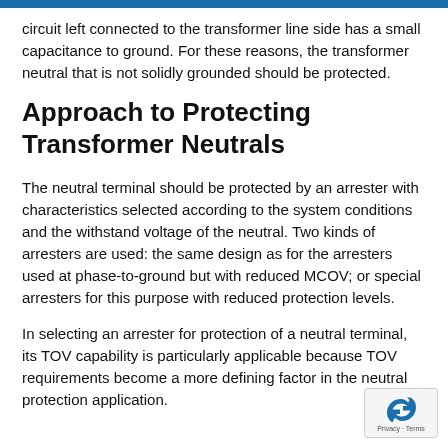circuit left connected to the transformer line side has a small capacitance to ground. For these reasons, the transformer neutral that is not solidly grounded should be protected.
Approach to Protecting Transformer Neutrals
The neutral terminal should be protected by an arrester with characteristics selected according to the system conditions and the withstand voltage of the neutral. Two kinds of arresters are used: the same design as for the arresters used at phase-to-ground but with reduced MCOV; or special arresters for this purpose with reduced protection levels.
In selecting an arrester for protection of a neutral terminal, its TOV capability is particularly applicable because TOV requirements become a more defining factor in the neutral protection application.